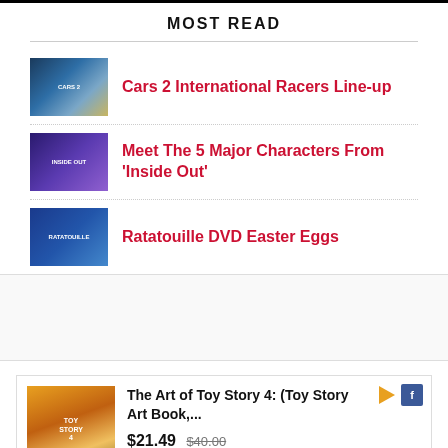MOST READ
Cars 2 International Racers Line-up
Meet The 5 Major Characters From 'Inside Out'
Ratatouille DVD Easter Eggs
The Art of Toy Story 4: (Toy Story Art Book,...
$21.49  $40.00